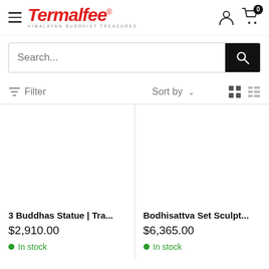Termalfee — Himalayan Buddhist Treasures
Search...
Filter   Sort by
3 Buddhas Statue | Tra...
$2,910.00
In stock
Bodhisattva Set Sculpt...
$6,365.00
In stock